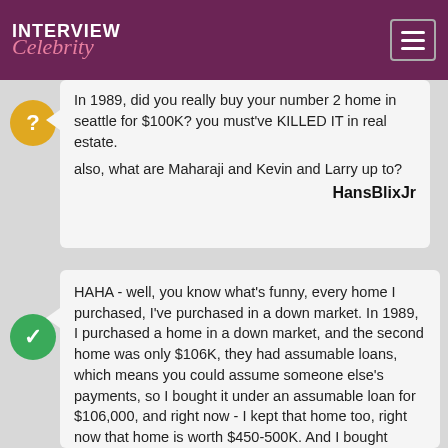INTERVIEW Celebrity
In 1989, did you really buy your number 2 home in seattle for $100K? you must've KILLED IT in real estate.

also, what are Maharaji and Kevin and Larry up to?

HansBlixJr
HAHA - well, you know what's funny, every home I purchased, I've purchased in a down market. In 1989, I purchased a home in a down market, and the second home was only $106K, they had assumable loans, which means you could assume someone else's payments, so I bought it under an assumable loan for $106,000, and right now - I kept that home too, right now that home is worth $450-500K. And I bought another home for about $360K that's probably worth at least $630,000 right now. And then I bought my last home, which